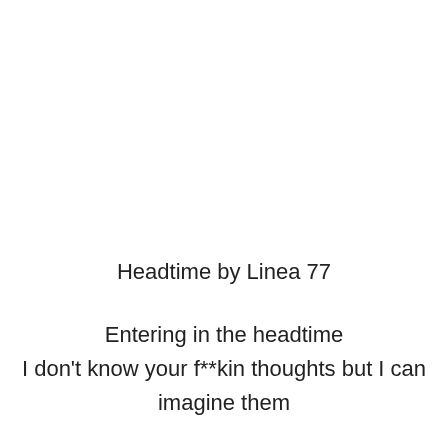Headtime by Linea 77
Entering in the headtime
I don't know your f**kin thoughts but I can imagine them